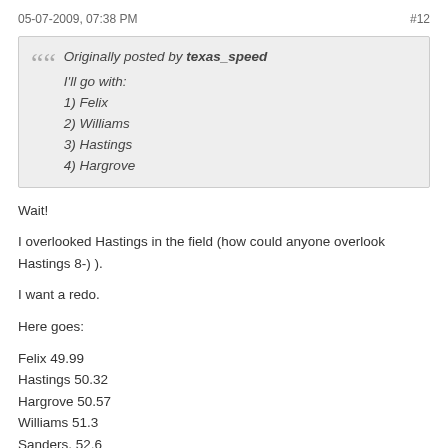05-07-2009, 07:38 PM    #12
Originally posted by texas_speed
I'll go with:
1) Felix
2) Williams
3) Hastings
4) Hargrove
Wait!

I overlooked Hastings in the field (how could anyone overlook Hastings 8-) ).

I want a redo.

Here goes:

Felix 49.99
Hastings 50.32
Hargrove 50.57
Williams 51.3
Sanders. 52.6
(Hastings bruised her foot running barefoot at Penn so that may be a